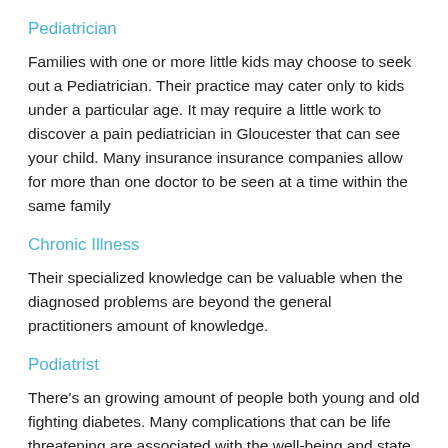Pediatrician
Families with one or more little kids may choose to seek out a Pediatrician. Their practice may cater only to kids under a particular age. It may require a little work to discover a pain pediatrician in Gloucester that can see your child. Many insurance insurance companies allow for more than one doctor to be seen at a time within the same family
Chronic Illness
Their specialized knowledge can be valuable when the diagnosed problems are beyond the general practitioners amount of knowledge.
Podiatrist
There’s an growing amount of people both young and old fighting diabetes. Many complications that can be life threatening are associated with the well-being and state of your feet. Seeing a podiatrist regularly assess the well-being